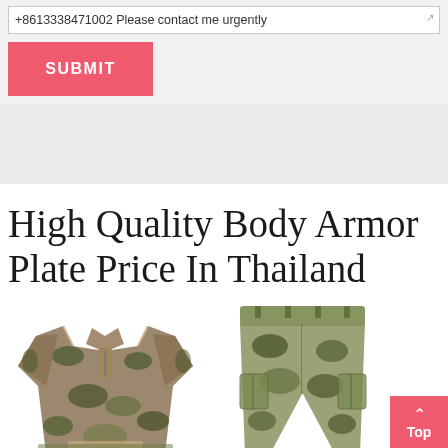+8613338471002 Please contact me urgently
SUBMIT
High Quality Body Armor Plate Price In Thailand
[Figure (photo): Two military camouflage uniform pieces: a combat shirt and combat pants, shown side by side]
Top